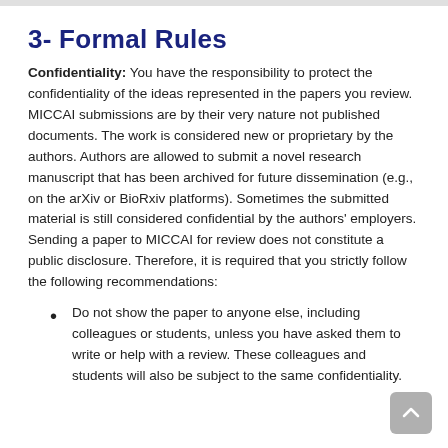3- Formal Rules
Confidentiality: You have the responsibility to protect the confidentiality of the ideas represented in the papers you review. MICCAI submissions are by their very nature not published documents. The work is considered new or proprietary by the authors. Authors are allowed to submit a novel research manuscript that has been archived for future dissemination (e.g., on the arXiv or BioRxiv platforms). Sometimes the submitted material is still considered confidential by the authors' employers. Sending a paper to MICCAI for review does not constitute a public disclosure. Therefore, it is required that you strictly follow the following recommendations:
Do not show the paper to anyone else, including colleagues or students, unless you have asked them to write or help with a review. These colleagues and students will also be subject to the same confidentiality.